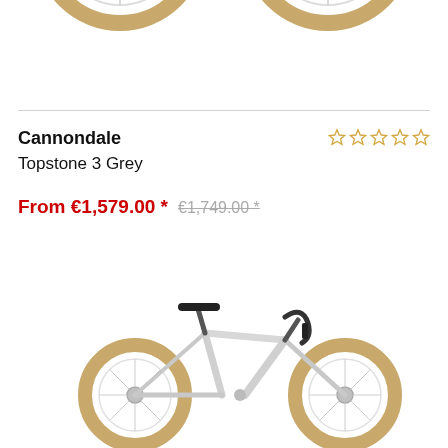[Figure (photo): Partial view of two bicycle wheels with tan/brown tires, cropped at top]
Cannondale
Topstone 3 Grey
[Figure (other): Five empty/unfilled gold star rating icons]
From €1,579.00 *  €1,749.00 *
[Figure (photo): Cannondale Topstone 3 Grey gravel bicycle, white/silver frame, tan tires, drop handlebars, partial view showing frame and both wheels]